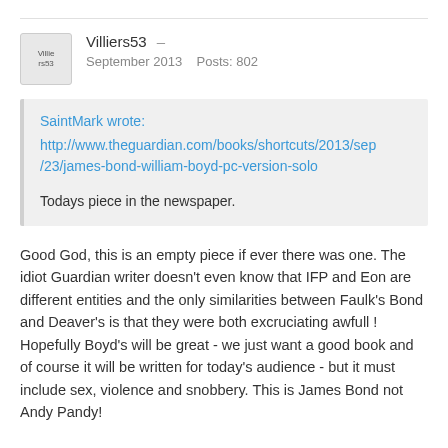Villiers53 – September 2013 Posts: 802
SaintMark wrote:
http://www.theguardian.com/books/shortcuts/2013/sep/23/james-bond-william-boyd-pc-version-solo

Todays piece in the newspaper.
Good God, this is an empty piece if ever there was one. The idiot Guardian writer doesn't even know that IFP and Eon are different entities and the only similarities between Faulk's Bond and Deaver's is that they were both excruciating awfull ! Hopefully Boyd's will be great - we just want a good book and of course it will be written for today's audience - but it must include sex, violence and snobbery. This is James Bond not Andy Pandy!